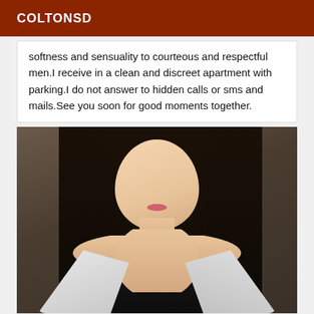COLTONSD
softness and sensuality to courteous and respectful men.I receive in a clean and discreet apartment with parking.I do not answer to hidden calls or sms and mails.See you soon for good moments together.
[Figure (photo): Portrait photo of a young Asian woman with long straight black hair, wearing a black top and white wrap clothing, studio background]